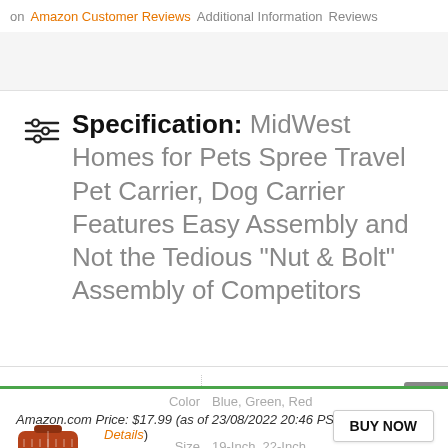on  Amazon Customer Reviews  Additional Information  Reviews
Specification: MidWest Homes for Pets Spree Travel Pet Carrier, Dog Carrier Features Easy Assembly and Not the Tedious “Nut & Bolt” Assembly of Competitors
| Binding | Misc. |
| --- | --- |
Color  Blue, Green, Red
Amazon.com Price: $17.99 (as of 23/08/2022 20:46 PST- Details)
Size  19-Inch, 22-Inch
Brand